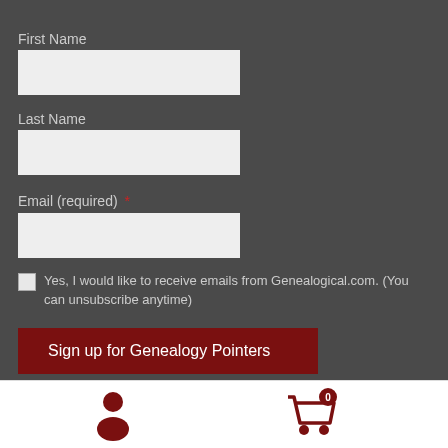First Name
[Figure (other): Text input field for First Name]
Last Name
[Figure (other): Text input field for Last Name]
Email (required) *
[Figure (other): Text input field for Email]
Yes, I would like to receive emails from Genealogical.com. (You can unsubscribe anytime)
Sign up for Genealogy Pointers
[Figure (other): Footer bar with user icon and shopping cart icon with badge showing 0]